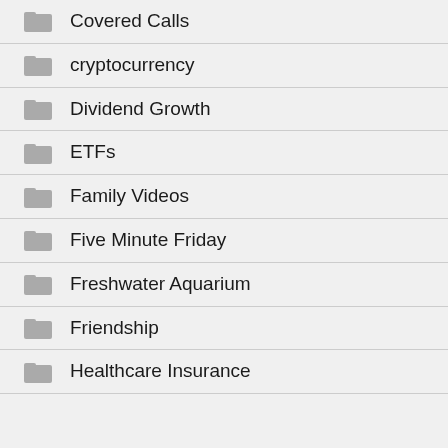Covered Calls
cryptocurrency
Dividend Growth
ETFs
Family Videos
Five Minute Friday
Freshwater Aquarium
Friendship
Healthcare Insurance